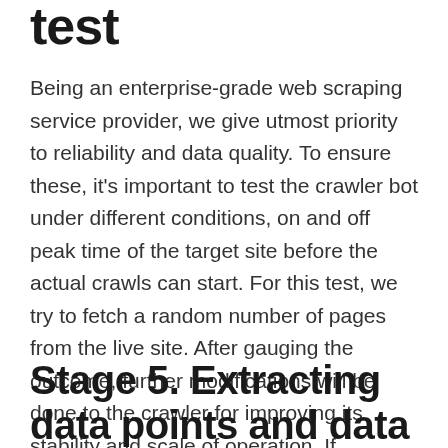test
Being an enterprise-grade web scraping service provider, we give utmost priority to reliability and data quality. To ensure these, it's important to test the crawler bot under different conditions, on and off peak time of the target site before the actual crawls can start. For this test, we try to fetch a random number of pages from the live site. After gauging the outcome, further modifications will be done to the crawler for improving its stability and scale of operation. If everything works as expected, the bot can go into production.
Stage 5. Extracting data points and data